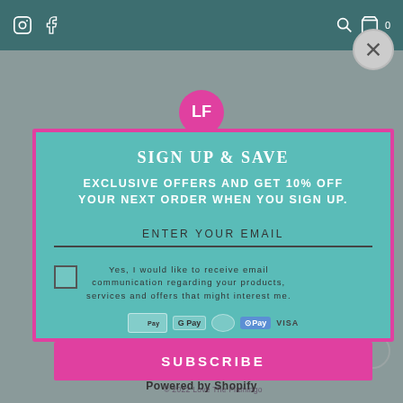Instagram Facebook icons | Search Cart 0 icons
SIGN UP & SAVE
EXCLUSIVE OFFERS AND GET 10% OFF YOUR NEXT ORDER WHEN YOU SIGN UP.
ENTER YOUR EMAIL
Yes, I would like to receive email communication regarding your products, services and offers that might interest me.
SUBSCRIBE
© 2022 Love The Flamingo
Powered by Shopify